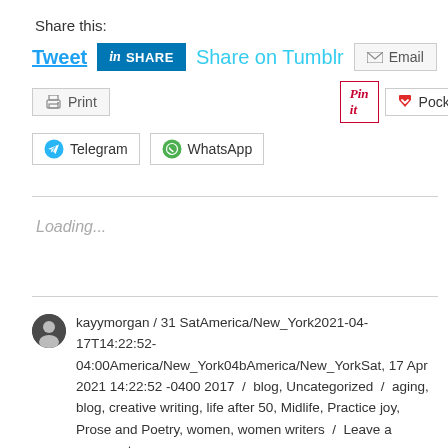Share this:
Tweet  SHARE  Share on Tumblr  Email  Print  Pin it  Pocket  0  Telegram  WhatsApp
Loading...
kayymorgan / 31 SatAmerica/New_York2021-04-17T14:22:52-04:00America/New_York04bAmerica/New_YorkSat, 17 Apr 2021 14:22:52 -0400 2017 / blog, Uncategorized / aging, blog, creative writing, life after 50, Midlife, Practice joy, Prose and Poetry, women, women writers / Leave a comment